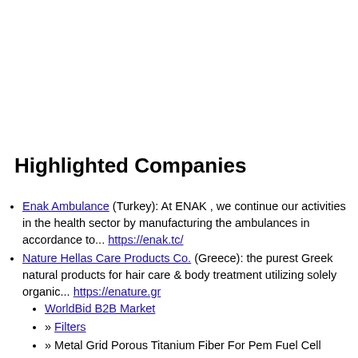Highlighted Companies
Enak Ambulance (Turkey): At ENAK , we continue our activities in the health sector by manufacturing the ambulances in accordance to... https://enak.tc/
Nature Hellas Care Products Co. (Greece): the purest Greek natural products for hair care & body treatment utilizing solely organic... https://enature.gr
WorldBid B2B Market
» Filters
» Metal Grid Porous Titanium Fiber For Pem Fuel Cell